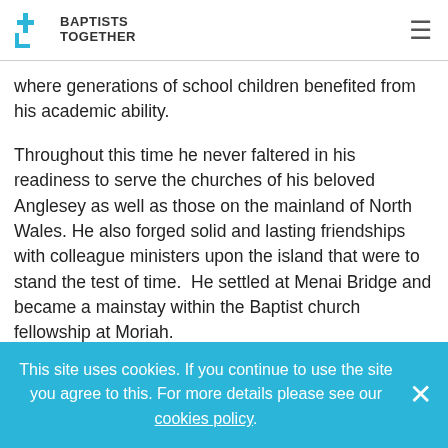BAPTISTS TOGETHER
where generations of school children benefited from his academic ability.
Throughout this time he never faltered in his readiness to serve the churches of his beloved Anglesey as well as those on the mainland of North Wales. He also forged solid and lasting friendships with colleague ministers upon the island that were to stand the test of time.  He settled at Menai Bridge and became a mainstay within the Baptist church fellowship at Moriah.
A quiet man with a warm and sincere disposition who
This site uses cookies. If you continue to use the site you agree to this. For more details please see our cookies policy.